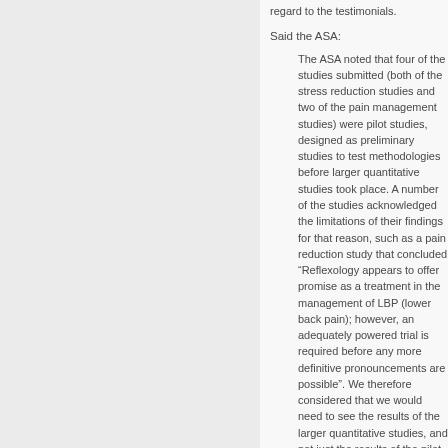regard to the testimonials.
Said the ASA:
The ASA noted that four of the studies submitted (both of the stress reduction studies and two of the pain management studies) were pilot studies, designed as preliminary studies to test methodologies before larger quantitative studies took place. A number of the studies acknowledged the limitations of their findings for that reason, such as a pain reduction study that concluded “Reflexology appears to offer promise as a treatment in the management of LBP (lower back pain); however, an adequately powered trial is required before any more definitive pronouncements are possible”. We therefore considered that we would need to see the results of the larger quantitative studies, and not just the results of the pilot studies, before we could conclude that reflexology was able to assist with stress, anxiety and pain management.